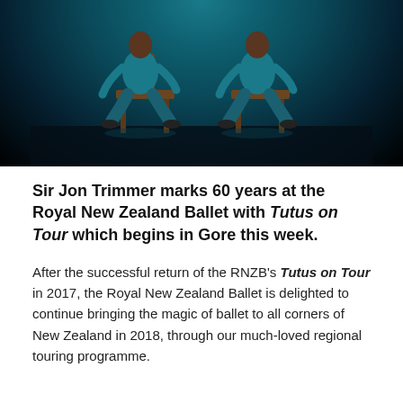[Figure (photo): Two dancers in teal/turquoise costumes seated on wooden chairs against a black background, photographed in dramatic stage lighting.]
Sir Jon Trimmer marks 60 years at the Royal New Zealand Ballet with Tutus on Tour which begins in Gore this week.
After the successful return of the RNZB's Tutus on Tour in 2017, the Royal New Zealand Ballet is delighted to continue bringing the magic of ballet to all corners of New Zealand in 2018, through our much-loved regional touring programme.